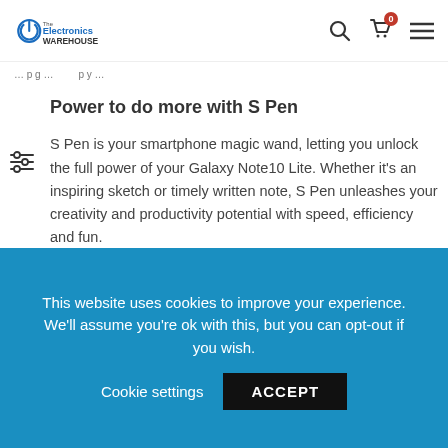The Electronics WAREHOUSE
Power to do more with S Pen
S Pen is your smartphone magic wand, letting you unlock the full power of your Galaxy Note10 Lite. Whether it's an inspiring sketch or timely written note, S Pen unleashes your creativity and productivity potential with speed, efficiency and fun.
The intelligent tool that does much more than just write
This website uses cookies to improve your experience. We'll assume you're ok with this, but you can opt-out if you wish.
Cookie settings  ACCEPT